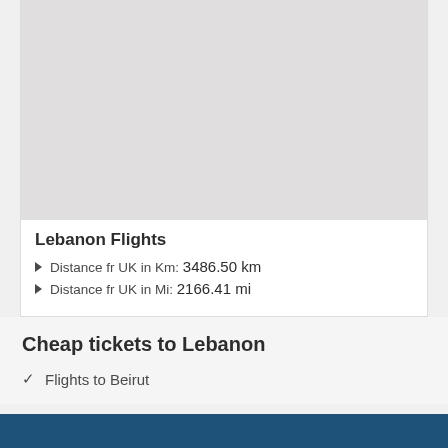[Figure (map): A light gray map placeholder area showing a geographic map region]
Lebanon Flights
Distance fr UK in Km: 3486.50 km
Distance fr UK in Mi: 2166.41 mi
Cheap tickets to Lebanon
Flights to Beirut